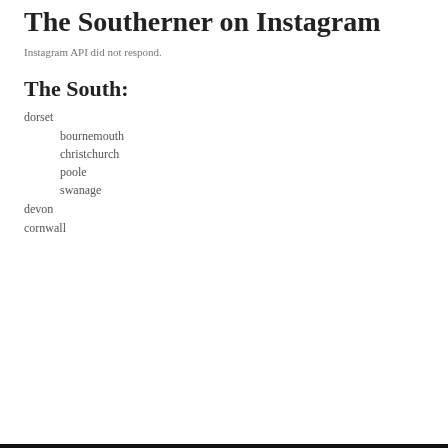The Southerner on Instagram
Instagram API did not respond.
The South:
dorset
bournemouth
christchurch
poole
swanage
devon
cornwall